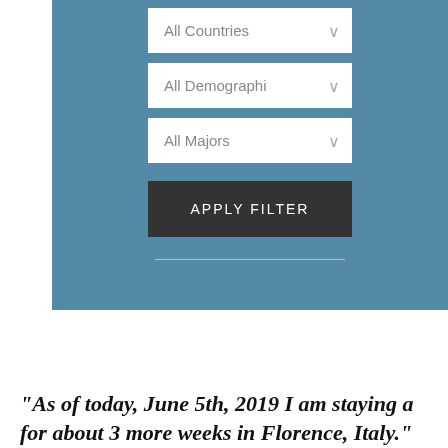[Figure (screenshot): Blue filter panel with three dropdown selectors (All Countries, All Demographi, All Majors) and an APPLY FILTER button, with a horizontal divider line below the button]
“As of today, June 5th, 2019 I am staying a for about 3 more weeks in Florence, Italy.”